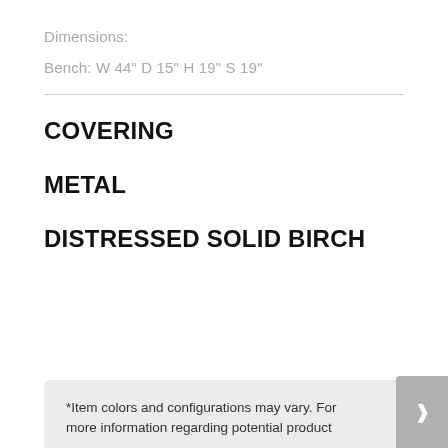Dimensions:
Bench: W 44" D 15" H 19" S 19"
COVERING
METAL
DISTRESSED SOLID BIRCH
*Item colors and configurations may vary. For more information regarding potential product